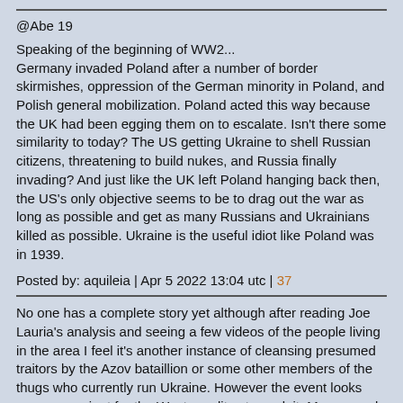@Abe 19
Speaking of the beginning of WW2...
Germany invaded Poland after a number of border skirmishes, oppression of the German minority in Poland, and Polish general mobilization. Poland acted this way because the UK had been egging them on to escalate. Isn't there some similarity to today? The US getting Ukraine to shell Russian citizens, threatening to build nukes, and Russia finally invading? And just like the UK left Poland hanging back then, the US's only objective seems to be to drag out the war as long as possible and get as many Russians and Ukrainians killed as possible. Ukraine is the useful idiot like Poland was in 1939.
Posted by: aquileia | Apr 5 2022 13:04 utc | 37
No one has a complete story yet although after reading Joe Lauria's analysis and seeing a few videos of the people living in the area I feel it's another instance of cleansing presumed traitors by the Azov bataillion or some other members of the thugs who currently run Ukraine. However the event looks very convenient for the Western elites to exploit. Macron and friends are hiding behind the media coverage to further push their anti-Russia agenda.